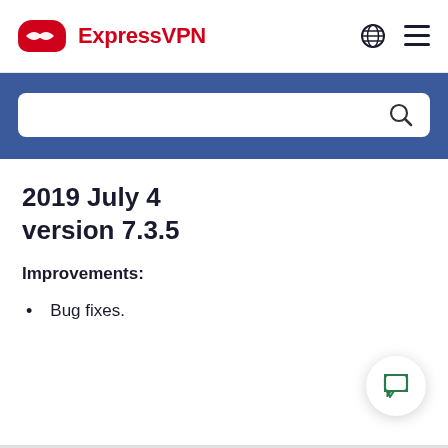ExpressVPN
[Figure (screenshot): Search bar on blue background]
2019 July 4 version 7.3.5
Improvements:
Bug fixes.